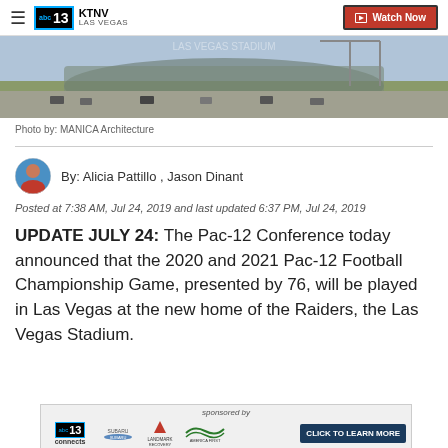KTNV LAS VEGAS — Watch Now
[Figure (photo): Aerial rendering of Las Vegas Stadium under construction]
Photo by: MANICA Architecture
By: Alicia Pattillo , Jason Dinant
Posted at 7:38 AM, Jul 24, 2019 and last updated 6:37 PM, Jul 24, 2019
UPDATE JULY 24: The Pac-12 Conference today announced that the 2020 and 2021 Pac-12 Football Championship Game, presented by 76, will be played in Las Vegas at the new home of the Raiders, the Las Vegas Stadium.
[Figure (screenshot): Sponsored advertisement banner for ABC13 connects with Subaru, Landmark Recovery, America First — CLICK TO LEARN MORE]
Pac-12 Commissioner Larry Scott made the